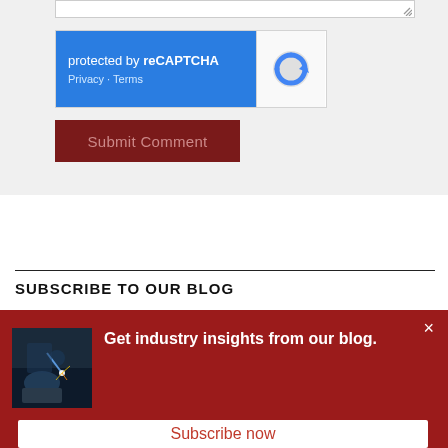[Figure (screenshot): reCAPTCHA widget with blue background showing 'protected by reCAPTCHA' text, Privacy and Terms links, and the reCAPTCHA circular arrow logo in gray on white]
Submit Comment
SUBSCRIBE TO OUR BLOG
[Figure (screenshot): Red popup banner with welding/industrial photo on left, bold white text 'Get industry insights from our blog.' and an X close button in top right, with a white 'Subscribe now' button at the bottom]